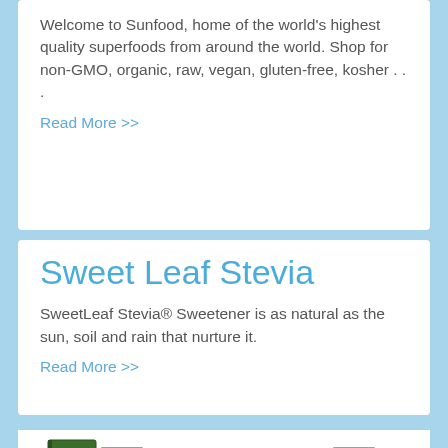Welcome to Sunfood, home of the world's highest quality superfoods from around the world. Shop for non-GMO, organic, raw, vegan, gluten-free, kosher . . .
Read More >>
Sweet Leaf Stevia
SweetLeaf Stevia® Sweetener is as natural as the sun, soil and rain that nurture it.
Read More >>
[Figure (photo): A row of book or product package covers displayed in a fan arrangement at the bottom of the page, including titles referencing 'Your Total Transformation System', 'The', 'Wake the Fork Up', 'Fast', 'The A', 'The Journey', 'Wake the F', 'How to Get on', 'Make the Fork Up Dirt Workouts' and others.]